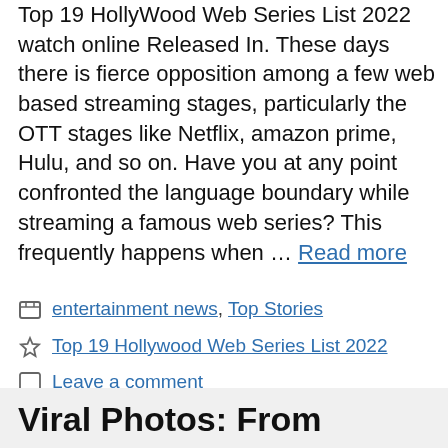Top 19 HollyWood Web Series List 2022 watch online Released In. These days there is fierce opposition among a few web based streaming stages, particularly the OTT stages like Netflix, amazon prime, Hulu, and so on. Have you at any point confronted the language boundary while streaming a famous web series? This frequently happens when … Read more
entertainment news, Top Stories
Top 19 Hollywood Web Series List 2022
Leave a comment
Viral Photos: From